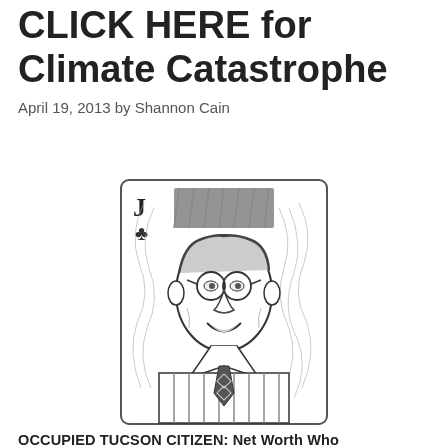CLICK HERE for Climate Catastrophe
April 19, 2013 by Shannon Cain
[Figure (illustration): A playing card illustration showing a Jack of Clubs. The card features a hand-drawn caricature of a man with glasses and a smirk, dressed in formal attire with a striped suit and patterned tie. The card has 'J' and a club symbol in the upper left corner.]
OCCUPIED TUCSON CITIZEN: Net Worth Who